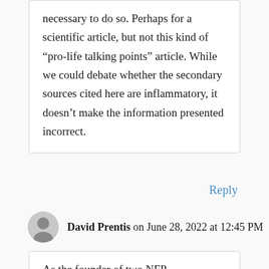necessary to do so. Perhaps for a scientific article, but not this kind of “pro-life talking points” article. While we could debate whether the secondary sources cited here are inflammatory, it doesn’t make the information presented incorrect.
Reply
David Prentis on June 28, 2022 at 12:45 PM
As the founder of two NFP organisations in the Czech and Slovak Republics respectively, I have seen many fertility charts of couples who wish to